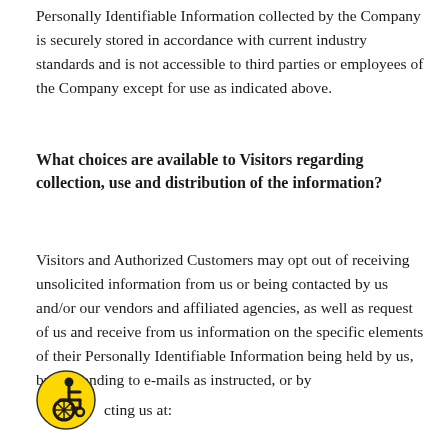Personally Identifiable Information collected by the Company is securely stored in accordance with current industry standards and is not accessible to third parties or employees of the Company except for use as indicated above.
What choices are available to Visitors regarding collection, use and distribution of the information?
Visitors and Authorized Customers may opt out of receiving unsolicited information from us or being contacted by us and/or our vendors and affiliated agencies, as well as request of us and receive from us information on the specific elements of their Personally Identifiable Information being held by us, by responding to e-mails as instructed, or by contacting us at:
[Figure (illustration): Accessibility wheelchair icon — circular yellow background with black wheelchair user symbol]